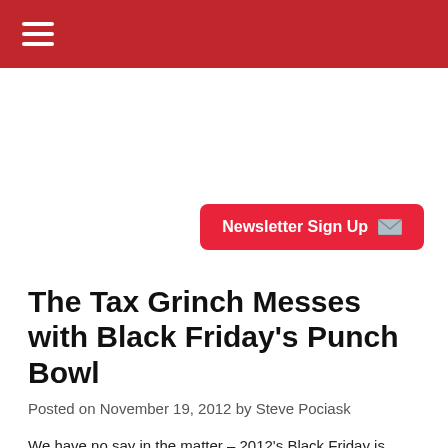☰
[Figure (other): Advertisement / newsletter sign-up button area with red 'Newsletter Sign Up' button with envelope icon]
The Tax Grinch Messes with Black Friday's Punch Bowl
Posted on November 19, 2012 by Steve Pociask
We have no say in the matter – 2012's Black Friday is approaching.